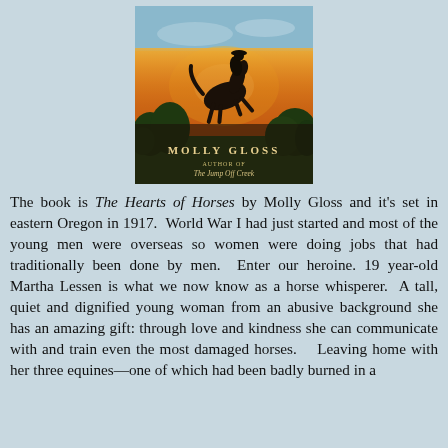[Figure (illustration): Book cover of 'The Hearts of Horses' by Molly Gloss. Shows a silhouetted rider on horseback against a warm orange sunset sky with green treeline in background. Text reads 'MOLLY GLOSS' and 'AUTHOR OF The Jump Off Creek'.]
The book is The Hearts of Horses by Molly Gloss and it's set in eastern Oregon in 1917. World War I had just started and most of the young men were overseas so women were doing jobs that had traditionally been done by men. Enter our heroine. 19 year-old Martha Lessen is what we now know as a horse whisperer. A tall, quiet and dignified young woman from an abusive background she has an amazing gift: through love and kindness she can communicate with and train even the most damaged horses. Leaving home with her three equines—one of which had been badly burned in a